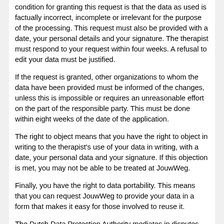condition for granting this request is that the data as used is factually incorrect, incomplete or irrelevant for the purpose of the processing. This request must also be provided with a date, your personal details and your signature. The therapist must respond to your request within four weeks. A refusal to edit your data must be justified.
If the request is granted, other organizations to whom the data have been provided must be informed of the changes, unless this is impossible or requires an unreasonable effort on the part of the responsible party. This must be done within eight weeks of the date of the application.
The right to object means that you have the right to object in writing to the therapist's use of your data in writing, with a date, your personal data and your signature. If this objection is met, you may not be able to be treated at JouwWeg.
Finally, you have the right to data portability. This means that you can request JouwWeg to provide your data in a form that makes it easy for those involved to reuse it.
The Dutch Data Protection Authority mediates in disputes about the exercise of rights. You can submit a request for mediation directly to the Dutch Data Protection Authority. There are no costs involved in handling this request.
If you believe that you have suffered damage as a result of the